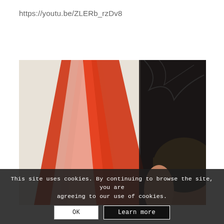https://youtu.be/ZLERb_rzDv8
[Figure (photo): A photograph showing a wall with abstract red and white paint strokes on a light/cream background, with dark areas on the right side. A person's head with short dark hair is partially visible on the right side of the image.]
This site uses cookies. By continuing to browse the site, you are agreeing to our use of cookies.
OK
Learn more